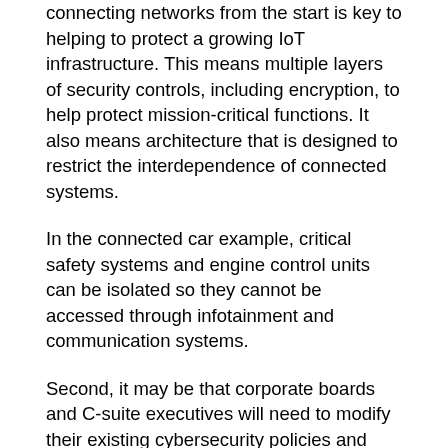connecting networks from the start is key to helping to protect a growing IoT infrastructure. This means multiple layers of security controls, including encryption, to help protect mission-critical functions. It also means architecture that is designed to restrict the interdependence of connected systems.
In the connected car example, critical safety systems and engine control units can be isolated so they cannot be accessed through infotainment and communication systems.
Second, it may be that corporate boards and C-suite executives will need to modify their existing cybersecurity policies and systems to accommodate IoT strategies. In any case, IoT strategies must be tightly integrated with wider corporate IT and business strategies. You will need to take steps to timely patch and update software and firmware, and implement controls to identify and contain security